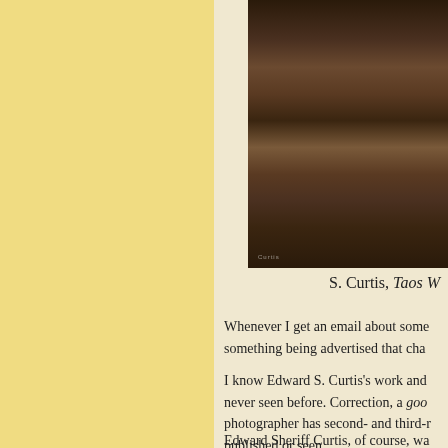[Figure (photo): Sepia-toned photograph of figures standing in a natural outdoor setting with grass and foliage, by Edward S. Curtis]
S. Curtis, Taos W
Whenever I get an email about something being advertised that cha
I know Edward S. Curtis's work and never seen before. Correction, a good photographer has second- and third- published or seen.
Edward Sheriff Curtis, of course, wa